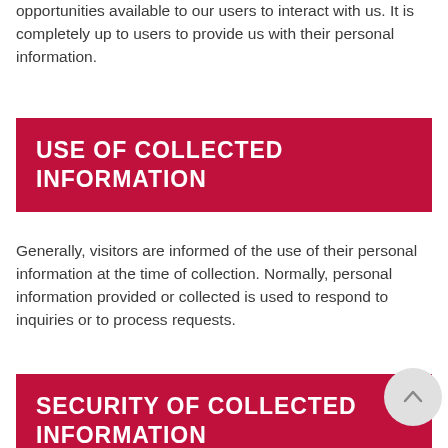opportunities available to our users to interact with us. It is completely up to users to provide us with their personal information.
USE OF COLLECTED INFORMATION
Generally, visitors are informed of the use of their personal information at the time of collection. Normally, personal information provided or collected is used to respond to inquiries or to process requests.
SECURITY OF COLLECTED INFORMATION